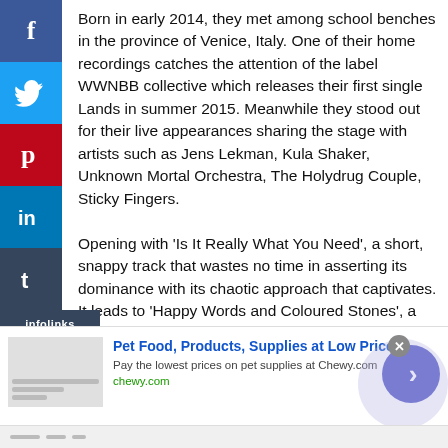Born in early 2014, they met among school benches in the province of Venice, Italy. One of their home recordings catches the attention of the label WWNBB collective which releases their first single Lands in summer 2015. Meanwhile they stood out for their live appearances sharing the stage with artists such as Jens Lekman, Kula Shaker, Unknown Mortal Orchestra, The Holydrug Couple, Sticky Fingers.
Opening with 'Is It Really What You Need', a short, snappy track that wastes no time in asserting its dominance with its chaotic approach that captivates. It leads to 'Happy Words and Coloured Stones', a track that's so laden with California coast vibes its practically surfing on its waves. The track has a dramatic false ending half way through that
[Figure (screenshot): Social media share sidebar with Facebook, Twitter, Pinterest, LinkedIn, Tumblr buttons and infolinks label]
[Figure (infographic): Advertisement banner for Chewy.com pet supplies: 'Pet Food, Products, Supplies at Low Prices - Pay the lowest prices on pet supplies at Chewy.com' with navigation arrow button and close button]